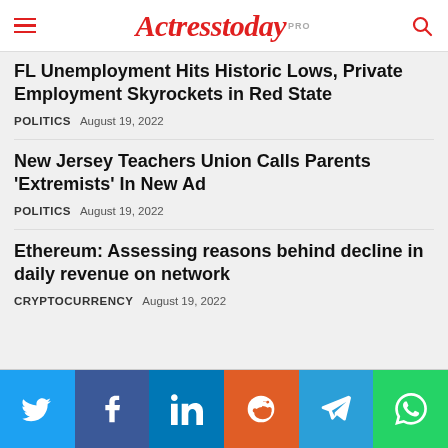Actresstoday PRO
FL Unemployment Hits Historic Lows, Private Employment Skyrockets in Red State
POLITICS  August 19, 2022
New Jersey Teachers Union Calls Parents 'Extremists' In New Ad
POLITICS  August 19, 2022
Ethereum: Assessing reasons behind decline in daily revenue on network
CRYPTOCURRENCY  August 19, 2022